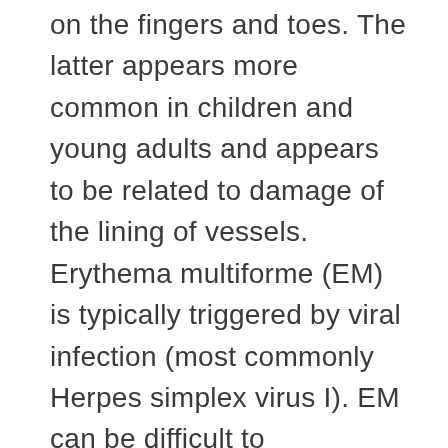on the fingers and toes. The latter appears more common in children and young adults and appears to be related to damage of the lining of vessels. Erythema multiforme (EM) is typically triggered by viral infection (most commonly Herpes simplex virus I). EM can be difficult to differentiate from DRESS, but it is characterized by a more typical rash with target lesions (resembling a bullseye) and rash that appears mainly on the extremities versus the truncal distribution characteristic of early DRESS.  In EM, there is often mucosal involvement (and with DRESS, there is typically swelling and